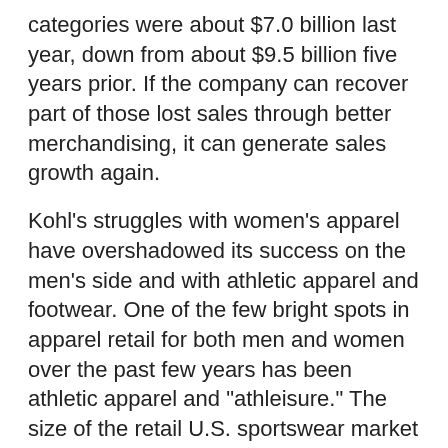categories were about $7.0 billion last year, down from about $9.5 billion five years prior. If the company can recover part of those lost sales through better merchandising, it can generate sales growth again.
Kohl's struggles with women's apparel have overshadowed its success on the men's side and with athletic apparel and footwear. One of the few bright spots in apparel retail for both men and women over the past few years has been athletic apparel and "athleisure." The size of the retail U.S. sportswear market grew nearly 40% over the past five years (Euromonitor). Athletic apparel has continued to outshine other categories during the pandemic as many people have begun to exercise regularly at home and/or have embraced casual dress while working remotely, and we believe the fashion trend will continue.